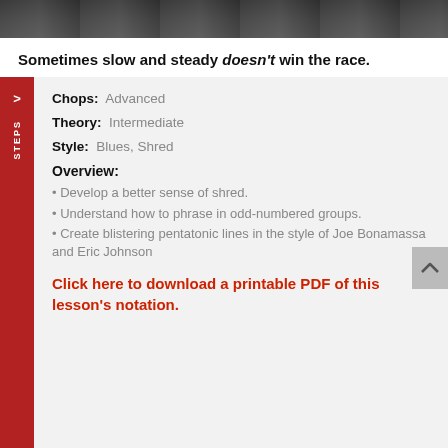[Figure (photo): Dark photo strip at top of page showing guitar/music equipment]
Sometimes slow and steady doesn't win the race.
Chops: Advanced
Theory: Intermediate
Style: Blues, Shred
Overview:
• Develop a better sense of shred.
• Understand how to phrase in odd-numbered groups.
• Create blistering pentatonic lines in the style of Joe Bonamassa and Eric Johnson
Click here to download a printable PDF of this lesson's notation.
[Figure (photo): Advertisement: A Recto like no other - The Badlander Series - Mesa/Boogie]
Since [...]  and vocabulary, you can't just throw in intervallic fusion lines